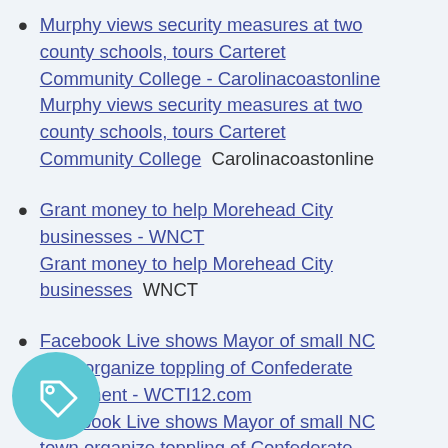Murphy views security measures at two county schools, tours Carteret Community College - Carolinacoastonline  Murphy views security measures at two county schools, tours Carteret Community College  Carolinacoastonline
Grant money to help Morehead City businesses - WNCT  Grant money to help Morehead City businesses  WNCT
Facebook Live shows Mayor of small NC town organize toppling of Confederate monument - WCTI12.com  Facebook Live shows Mayor of small NC town organize toppling of Confederate